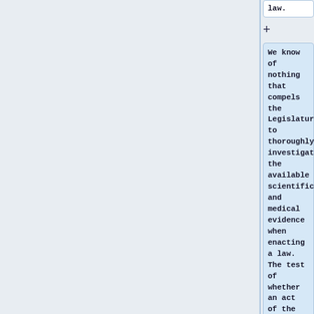law.
+
We know of nothing that compels the Legislature to thoroughly investigate the available scientific and medical evidence when enacting a law. The test of whether an act of the